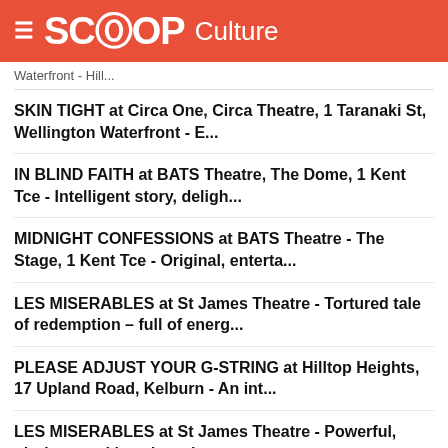SCOOP Culture
Waterfront - Hill...
SKIN TIGHT at Circa One, Circa Theatre, 1 Taranaki St, Wellington Waterfront - E...
IN BLIND FAITH at BATS Theatre, The Dome, 1 Kent Tce - Intelligent story, deligh...
MIDNIGHT CONFESSIONS at BATS Theatre - The Stage, 1 Kent Tce - Original, enterta...
LES MISERABLES at St James Theatre - Tortured tale of redemption – full of energ...
PLEASE ADJUST YOUR G-STRING at Hilltop Heights, 17 Upland Road, Kelburn - An int...
LES MISERABLES at St James Theatre - Powerful, glorious and jaw-dropping – a mus...
LIFESTYLE BLOGROLL